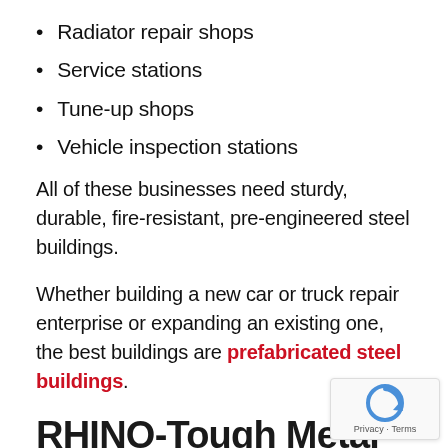Radiator repair shops
Service stations
Tune-up shops
Vehicle inspection stations
All of these businesses need sturdy, durable, fire-resistant, pre-engineered steel buildings.
Whether building a new car or truck repair enterprise or expanding an existing one, the best buildings are prefabricated steel buildings.
RHINO-Tough Metal Buildings Create Great A